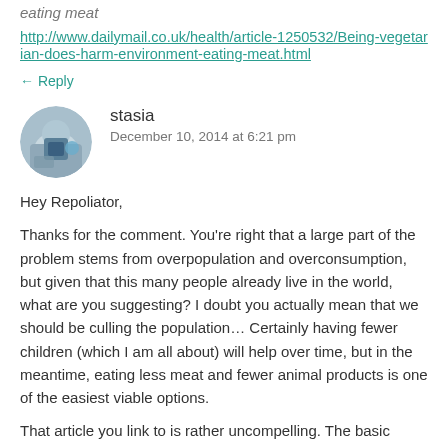eating meat
http://www.dailymail.co.uk/health/article-1250532/Being-vegetarian-does-harm-environment-eating-meat.html
← Reply
stasia
December 10, 2014 at 6:21 pm
Hey Repoliator,
Thanks for the comment. You're right that a large part of the problem stems from overpopulation and overconsumption, but given that this many people already live in the world, what are you suggesting? I doubt you actually mean that we should be culling the population… Certainly having fewer children (which I am all about) will help over time, but in the meantime, eating less meat and fewer animal products is one of the easiest viable options.
That article you link to is rather uncompelling. The basic argument is that processed meat substitutes have a greater